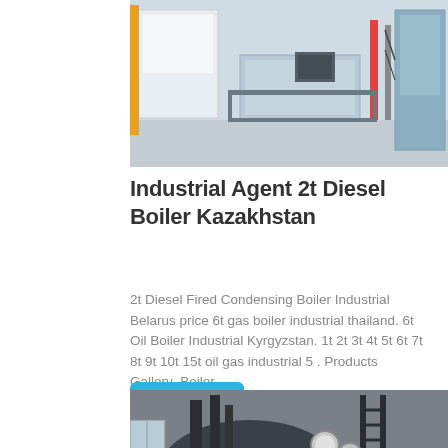[Figure (photo): Industrial boiler equipment room with white panels and machinery]
Industrial Agent 2t Diesel Boiler Kazakhstan
2t Diesel Fired Condensing Boiler Industrial Belarus price 6t gas boiler industrial thailand. 6t Oil Boiler Industrial Kyrgyzstan. 1t 2t 3t 4t 5t 6t 7t 8t 9t 10t 15t oil gas industrial 5 . Products Gallery_Boiler…
Get Price
[Figure (photo): Industrial boiler unit with pipes and gauges in a facility]